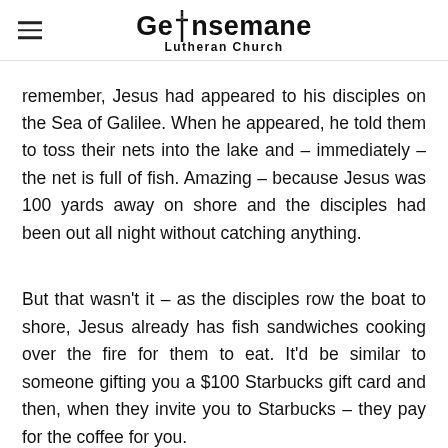Gethsemane Lutheran Church
remember, Jesus had appeared to his disciples on the Sea of Galilee. When he appeared, he told them to toss their nets into the lake and – immediately – the net is full of fish. Amazing – because Jesus was 100 yards away on shore and the disciples had been out all night without catching anything.
But that wasn't it – as the disciples row the boat to shore, Jesus already has fish sandwiches cooking over the fire for them to eat. It'd be similar to someone gifting you a $100 Starbucks gift card and then, when they invite you to Starbucks – they pay for the coffee for you.
Jesus did the same. He provided abundantly